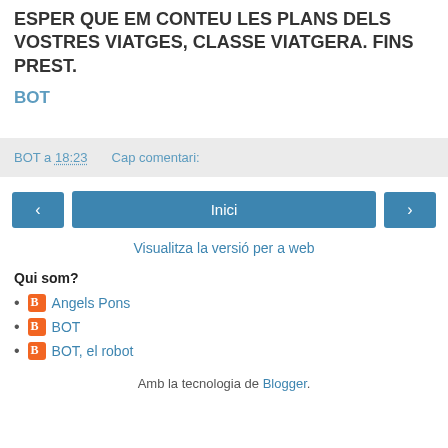ESPER QUE EM CONTEU LES PLANS DELS VOSTRES VIATGES, CLASSE VIATGERA. FINS PREST.
BOT
BOT a 18:23    Cap comentari:
‹   Inici   ›
Visualitza la versió per a web
Qui som?
Angels Pons
BOT
BOT, el robot
Amb la tecnologia de Blogger.